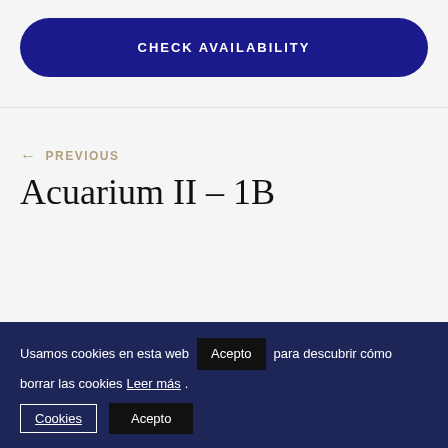CHECK AVAILABILITY
← PREVIOUS
Acuarium II – 1B
Usamos cookies en esta web Acepto para descubrir cómo borrar las cookies Leer más. Cookies Acepto